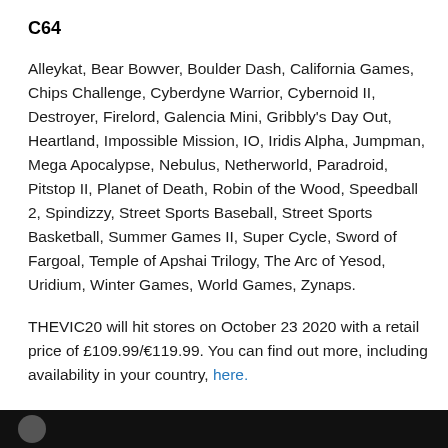C64
Alleykat, Bear Bowver, Boulder Dash, California Games, Chips Challenge, Cyberdyne Warrior, Cybernoid II, Destroyer, Firelord, Galencia Mini, Gribbly's Day Out, Heartland, Impossible Mission, IO, Iridis Alpha, Jumpman, Mega Apocalypse, Nebulus, Netherworld, Paradroid, Pitstop II, Planet of Death, Robin of the Wood, Speedball 2, Spindizzy, Street Sports Baseball, Street Sports Basketball, Summer Games II, Super Cycle, Sword of Fargoal, Temple of Apshai Trilogy, The Arc of Yesod, Uridium, Winter Games, World Games, Zynaps.
THEVIC20 will hit stores on October 23 2020 with a retail price of £109.99/€119.99. You can find out more, including availability in your country, here.